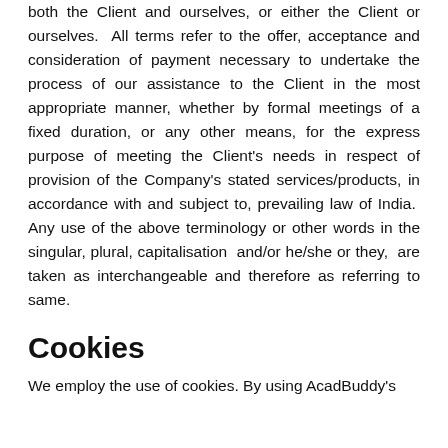both the Client and ourselves, or either the Client or ourselves. All terms refer to the offer, acceptance and consideration of payment necessary to undertake the process of our assistance to the Client in the most appropriate manner, whether by formal meetings of a fixed duration, or any other means, for the express purpose of meeting the Client's needs in respect of provision of the Company's stated services/products, in accordance with and subject to, prevailing law of India. Any use of the above terminology or other words in the singular, plural, capitalisation and/or he/she or they, are taken as interchangeable and therefore as referring to same.
Cookies
We employ the use of cookies. By using AcadBuddy's